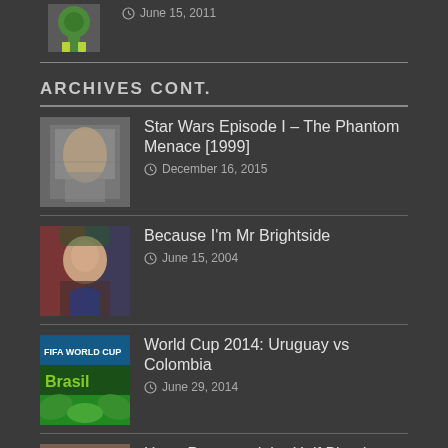[Figure (photo): Partial top entry with green character thumbnail and date June 15, 2011]
June 15, 2011
ARCHIVES CONT.
Star Wars Episode I – The Phantom Menace [1999] — December 16, 2015
Because I'm Mr Brightside — June 15, 2004
World Cup 2014: Uruguay vs Colombia — June 29, 2014
Harry Potter and the Half Blood Prince — July 20, 2009
Shadow of a Doubt